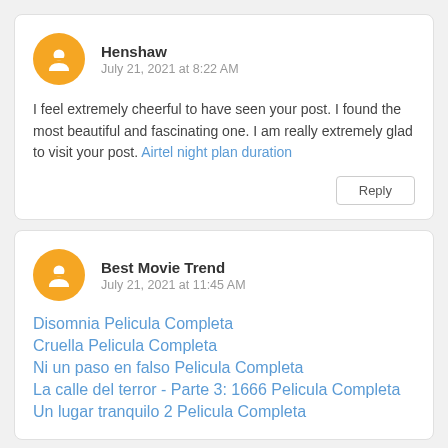Henshaw
July 21, 2021 at 8:22 AM
I feel extremely cheerful to have seen your post. I found the most beautiful and fascinating one. I am really extremely glad to visit your post. Airtel night plan duration
Reply
Best Movie Trend
July 21, 2021 at 11:45 AM
Disomnia Pelicula Completa
Cruella Pelicula Completa
Ni un paso en falso Pelicula Completa
La calle del terror - Parte 3: 1666 Pelicula Completa
Un lugar tranquilo 2 Pelicula Completa